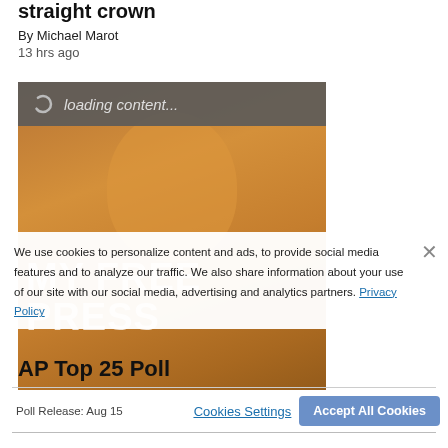straight crown
By Michael Marot
13 hrs ago
[Figure (photo): Photo of Ann Patchett with orange/amber duotone filter over a background of bookshelves. A loading bar overlay reads 'loading content...' and a MY FREE PRESS watermark is overlaid. Caption 'Ann Patchett' appears at bottom left of the image.]
We use cookies to personalize content and ads, to provide social media features and to analyze our traffic. We also share information about your use of our site with our social media, advertising and analytics partners. Privacy Policy
AP Top 25 Poll
Poll Release: Aug 15
Cookies Settings
Accept All Cookies